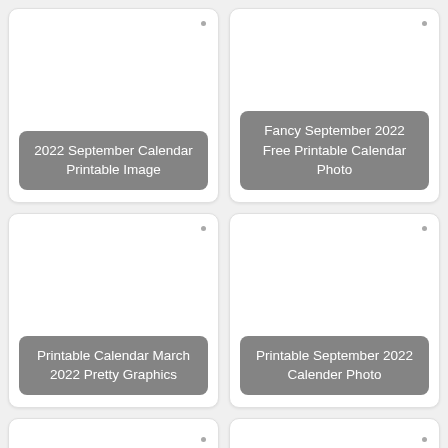[Figure (photo): Calendar thumbnail card: 2022 September Calendar Printable Image]
[Figure (photo): Calendar thumbnail card: Fancy September 2022 Free Printable Calendar Photo]
[Figure (photo): Calendar thumbnail card: Printable Calendar March 2022 Pretty Graphics]
[Figure (photo): Calendar thumbnail card: Printable September 2022 Calender Photo]
[Figure (photo): Calendar thumbnail card: partial, no label visible]
[Figure (photo): Calendar thumbnail card: partial, no label visible]